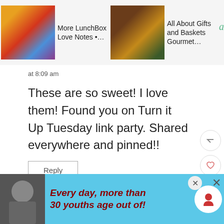[Figure (screenshot): Ad banner row at top showing three ad items: 'More LunchBox Love Notes', 'All About Gifts and Baskets Gourmet…', and a beauty/review blog logo with search icon]
at 8:09 am
These are so sweet! I love them! Found you on Turn it Up Tuesday link party. Shared everywhere and pinned!!
Reply
Stephanie says:
[Figure (screenshot): Bottom advertisement banner with Dave Thomas Foundation for Adoption, blue background, showing text 'Every day, more than 30 youths age out of foster care' with person photo on left]